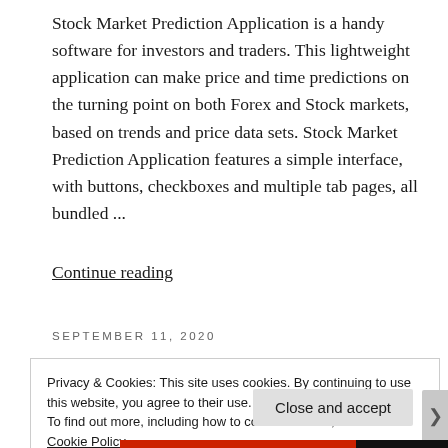Stock Market Prediction Application is a handy software for investors and traders. This lightweight application can make price and time predictions on the turning point on both Forex and Stock markets, based on trends and price data sets. Stock Market Prediction Application features a simple interface, with buttons, checkboxes and multiple tab pages, all bundled ...
Continue reading
SEPTEMBER 11, 2020
Privacy & Cookies: This site uses cookies. By continuing to use this website, you agree to their use.
To find out more, including how to control cookies, see here: Cookie Policy
Close and accept